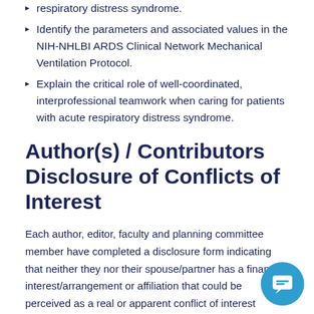respiratory distress syndrome.
Identify the parameters and associated values in the NIH-NHLBI ARDS Clinical Network Mechanical Ventilation Protocol.
Explain the critical role of well-coordinated, interprofessional teamwork when caring for patients with acute respiratory distress syndrome.
Author(s) / Contributors Disclosure of Conflicts of Interest
Each author, editor, faculty and planning committee member have completed a disclosure form indicating that neither they nor their spouse/partner has a financial interest/arrangement or affiliation that could be perceived as a real or apparent conflict of interest related to the content of this activity.